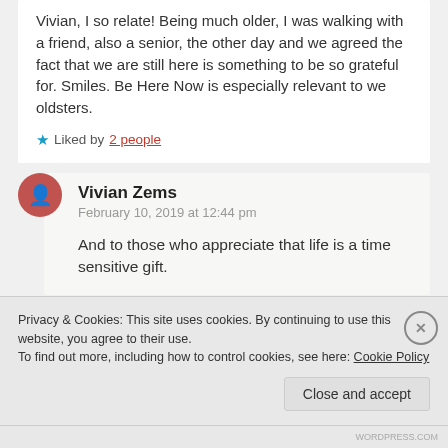Vivian, I so relate! Being much older, I was walking with a friend, also a senior, the other day and we agreed the fact that we are still here is something to be so grateful for. Smiles. Be Here Now is especially relevant to we oldsters.
★ Liked by 2 people
Vivian Zems
February 10, 2019 at 12:44 pm
And to those who appreciate that life is a time sensitive gift.
Privacy & Cookies: This site uses cookies. By continuing to use this website, you agree to their use.
To find out more, including how to control cookies, see here: Cookie Policy
Close and accept